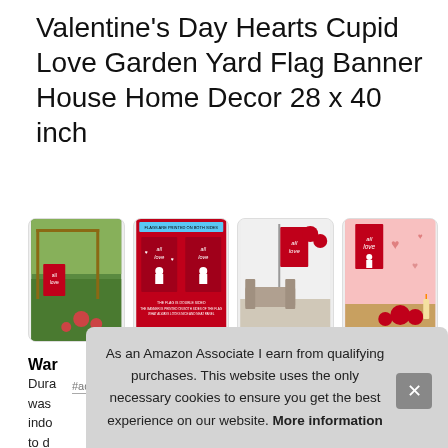Valentine's Day Hearts Cupid Love Garden Yard Flag Banner House Home Decor 28 x 40 inch
#ad
[Figure (photo): Four product thumbnail images showing Valentine's Day garden flag in various settings: outdoor garden, front/back comparison, indoor display, and room decor]
War
Dura was indo to d
As an Amazon Associate I earn from qualifying purchases. This website uses the only necessary cookies to ensure you get the best experience on our website. More information